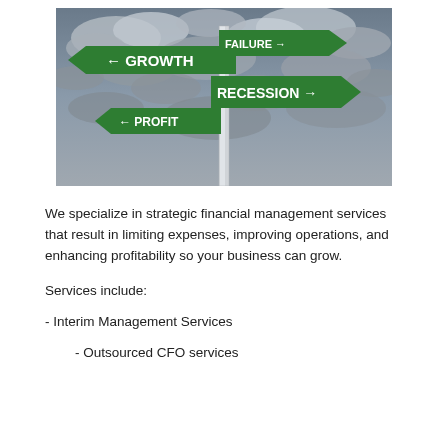[Figure (photo): Street sign post with green directional signs reading GROWTH (left arrow), FAILURE (right arrow), RECESSION (right arrow), and PROFIT (left arrow), against a dramatic cloudy sky.]
We specialize in strategic financial management services that result in limiting expenses, improving operations, and enhancing profitability so your business can grow.
Services include:
- Interim Management Services
- Outsourced CFO services